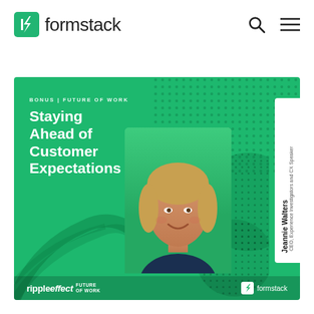[Figure (logo): Formstack logo with green lightning bolt icon and wordmark]
[Figure (screenshot): Search and hamburger menu navigation icons]
[Figure (infographic): Green banner card for podcast/webinar episode: 'BONUS | FUTURE OF WORK — Staying Ahead of Customer Expectations' featuring Jeannie Walters, CEO, Experience Investigators and CX Speaker. Includes portrait photo, decorative dot patterns, rippleeffect Future of Work branding, and Formstack logo.]